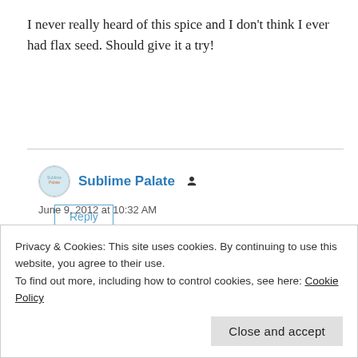I never really heard of this spice and I don't think I ever had flax seed. Should give it a try!
Reply
Sublime Palate
June 9, 2012 at 10:32 AM
Hi Kankana, Thanks for coming over:) Many
Privacy & Cookies: This site uses cookies. By continuing to use this website, you agree to their use.
To find out more, including how to control cookies, see here: Cookie Policy
Close and accept